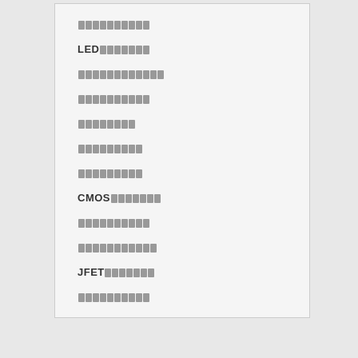██████████
LED███████
████████████
██████████
████████
█████████
█████████
CMOS███████
██████████
███████████
JFET███████
██████████